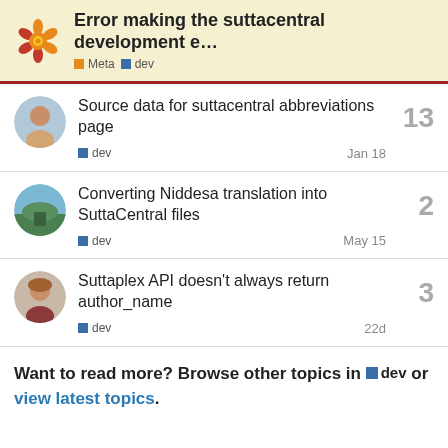Error making the suttacentral development e... | Meta | dev
Source data for suttacentral abbreviations page | dev | Jan 18 | 13 replies
Converting Niddesa translation into SuttaCentral files | dev | May 15 | 2 replies
Suttaplex API doesn't always return author_name | dev | 22d | 3 replies
Want to read more? Browse other topics in dev or view latest topics.